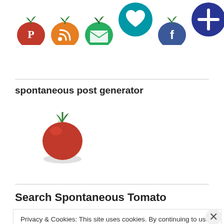[Figure (illustration): Row of social media icon circles: Pinterest (red, tomato), RSS (orange, tomato), Email/envelope (green, tomato), heart/like (teal), Facebook (dark blue, tomato), plus/add (dark navy)]
spontaneous post generator
[Figure (photo): A single red cherry tomato with green stem, isolated on white background with shadow]
Search Spontaneous Tomato
Privacy & Cookies: This site uses cookies. By continuing to use this website, you agree to their use.
To find out more, including how to control cookies, see here: Cookie Policy
Close and accept